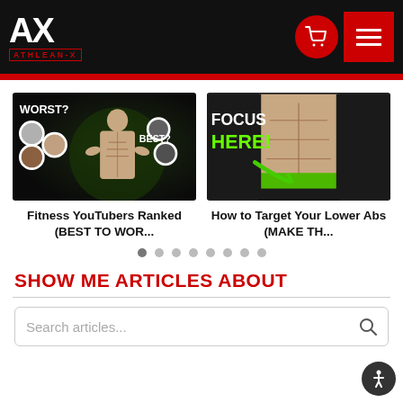ATHLEAN-X
[Figure (screenshot): Thumbnail of fitness YouTubers ranked video showing shirtless man with WORST? and BEST? labels and circular profile photos]
Fitness YouTubers Ranked (BEST TO WOR...
[Figure (screenshot): Thumbnail of lower abs exercise video showing shirtless man with FOCUS HERE! in green text and green arrow]
How to Target Your Lower Abs (MAKE TH...
SHOW ME ARTICLES ABOUT
Search articles...